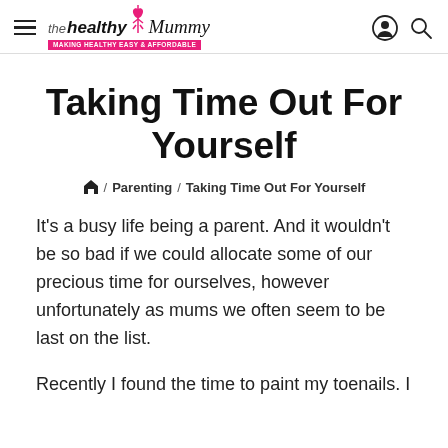the healthy Mummy — Making Healthy EASY & AFFORDABLE
Taking Time Out For Yourself
🏠 / Parenting / Taking Time Out For Yourself
It's a busy life being a parent. And it wouldn't be so bad if we could allocate some of our precious time for ourselves, however unfortunately as mums we often seem to be last on the list.
Recently I found the time to paint my toenails. I